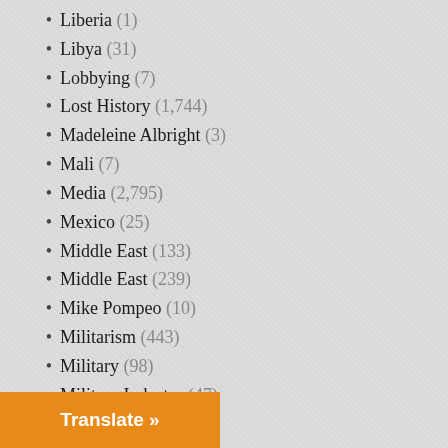Liberia (1)
Libya (31)
Lobbying (7)
Lost History (1,744)
Madeleine Albright (3)
Mali (7)
Media (2,795)
Mexico (25)
Middle East (133)
Middle East (239)
Mike Pompeo (10)
Militarism (443)
Military (98)
Military Industry (47)
Moldova (1)
Montenegro (1)
Music (5)
NATO (10)